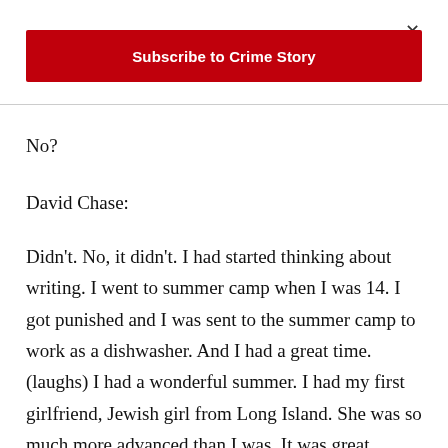[Figure (other): Close button (×) in top right corner]
[Figure (other): Red subscribe button bar with white text 'Subscribe to Crime Story']
No?
David Chase:
Didn't. No, it didn't. I had started thinking about writing. I went to summer camp when I was 14. I got punished and I was sent to the summer camp to work as a dishwasher. And I had a great time. (laughs) I had a wonderful summer. I had my first girlfriend, Jewish girl from Long Island. She was so much more advanced than I was. It was great.